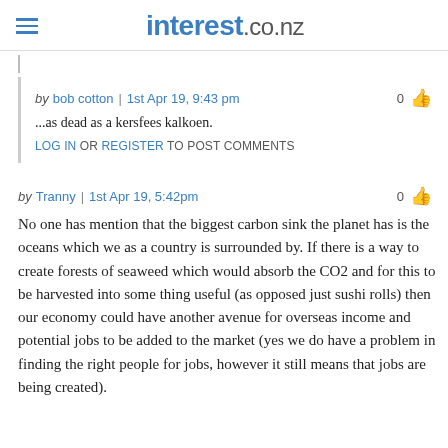interest.co.nz
by bob cotton | 1st Apr 19, 9:43 pm
...as dead as a kersfees kalkoen.
LOG IN OR REGISTER TO POST COMMENTS
by Tranny | 1st Apr 19, 5:42pm
No one has mention that the biggest carbon sink the planet has is the oceans which we as a country is surrounded by. If there is a way to create forests of seaweed which would absorb the CO2 and for this to be harvested into some thing useful (as opposed just sushi rolls) then our economy could have another avenue for overseas income and potential jobs to be added to the market (yes we do have a problem in finding the right people for jobs, however it still means that jobs are being created).